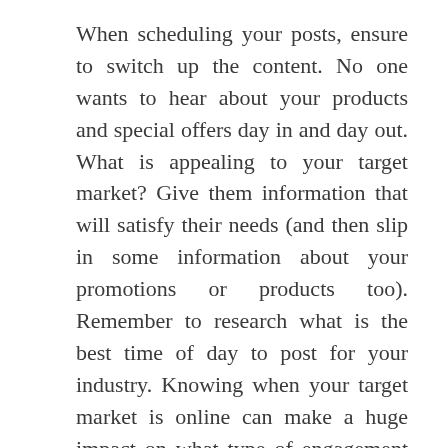When scheduling your posts, ensure to switch up the content. No one wants to hear about your products and special offers day in and day out. What is appealing to your target market? Give them information that will satisfy their needs (and then slip in some information about your promotions or products too). Remember to research what is the best time of day to post for your industry. Knowing when your target market is online can make a huge impact on what type of engagement your posts get.
Pay for ads
If you spend money on Facebook advertising you shall be rewarded, and come on, compared to conventional advertising it's pretty cheap! It can't hurt to boost your page for a few days every